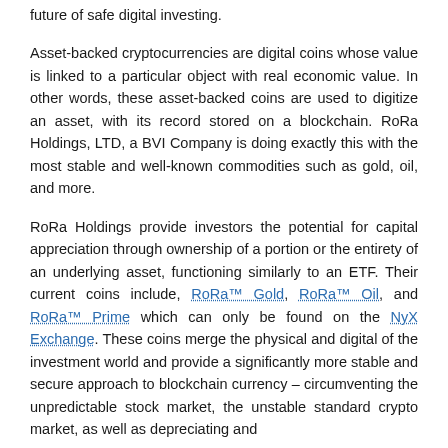future of safe digital investing.
Asset-backed cryptocurrencies are digital coins whose value is linked to a particular object with real economic value. In other words, these asset-backed coins are used to digitize an asset, with its record stored on a blockchain. RoRa Holdings, LTD, a BVI Company is doing exactly this with the most stable and well-known commodities such as gold, oil, and more.
RoRa Holdings provide investors the potential for capital appreciation through ownership of a portion or the entirety of an underlying asset, functioning similarly to an ETF. Their current coins include, RoRa™ Gold, RoRa™ Oil, and RoRa™ Prime which can only be found on the NyX Exchange. These coins merge the physical and digital of the investment world and provide a significantly more stable and secure approach to blockchain currency – circumventing the unpredictable stock market, the unstable standard crypto market, as well as depreciating and inflationary currencies, along with other threats.